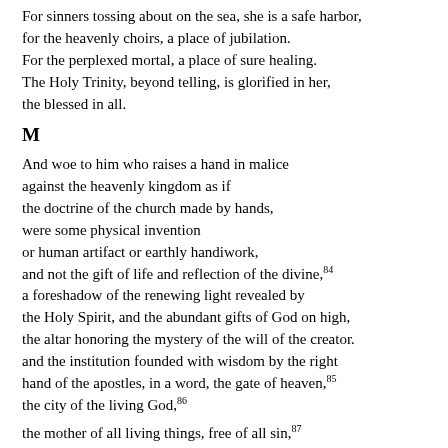For sinners tossing about on the sea, she is a safe harbor,
for the heavenly choirs, a place of jubilation.
For the perplexed mortal, a place of sure healing.
The Holy Trinity, beyond telling, is glorified in her,
the blessed in all.
M
And woe to him who raises a hand in malice
against the heavenly kingdom as if
the doctrine of the church made by hands,
were some physical invention
or human artifact or earthly handiwork,
and not the gift of life and reflection of the divine,²⁸¹¹²⁹³¹¹±¹±²a foreshadow of the renewing light revealed by
the Holy Spirit, and the abundant gifts of God on high,
the altar honoring the mystery of the will of the creator.
and the institution founded with wisdom by the right
hand of the apostles, in a word, the gate of heaven,²⁸¹
the city of the living God,±
the mother of all living things, free of all sin,±
and the true model of our visible, thinking being.
Her intellectual part is the mystery of our souls.
Her palpable part is the image of our bodies.
And a new holiness surpassing the holiness of old±